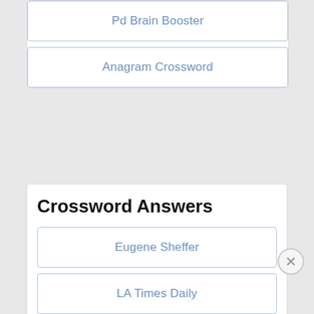Pd Brain Booster
Anagram Crossword
Crossword Answers
Eugene Sheffer
LA Times Daily
New York Times
Newsday
The Washington Post
Thomas Joseph